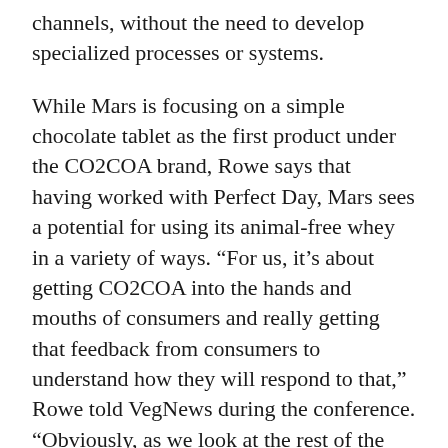channels, without the need to develop specialized processes or systems.
While Mars is focusing on a simple chocolate tablet as the first product under the CO2COA brand, Rowe says that having worked with Perfect Day, Mars sees a potential for using its animal-free whey in a variety of ways. “For us, it’s about getting CO2COA into the hands and mouths of consumers and really getting that feedback from consumers to understand how they will respond to that,” Rowe told VegNews during the conference. “Obviously, as we look at the rest of the portfolio, we will always be looking and saying ‘how do we continue to evolve our brands and products to conform to the tastes that consumers are expressing to us. It’s something that we will always keep an open mind about where we are bringing this technology. But at the moment we are focused on the CO2COA launch